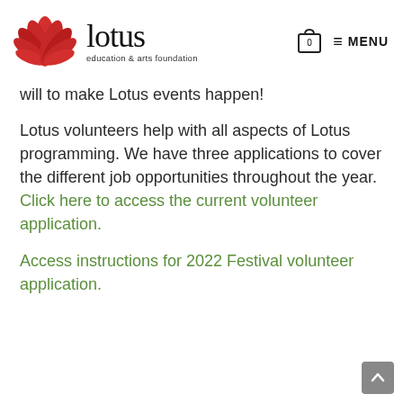[Figure (logo): Lotus Education & Arts Foundation logo with red lotus flower SVG and text 'lotus education & arts foundation']
0  ≡ MENU
will to make Lotus events happen!
Lotus volunteers help with all aspects of Lotus programming. We have three applications to cover the different job opportunities throughout the year. Click here to access the current volunteer application.
Access instructions for 2022 Festival volunteer application.